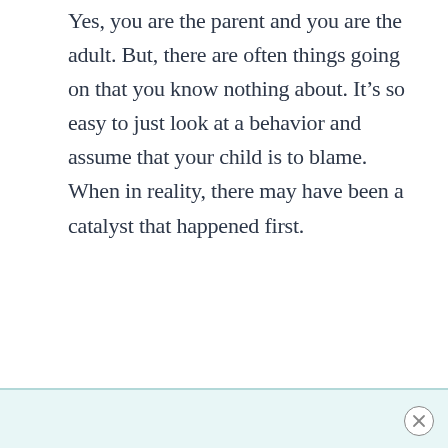Yes, you are the parent and you are the adult. But, there are often things going on that you know nothing about. It’s so easy to just look at a behavior and assume that your child is to blame. When in reality, there may have been a catalyst that happened first.